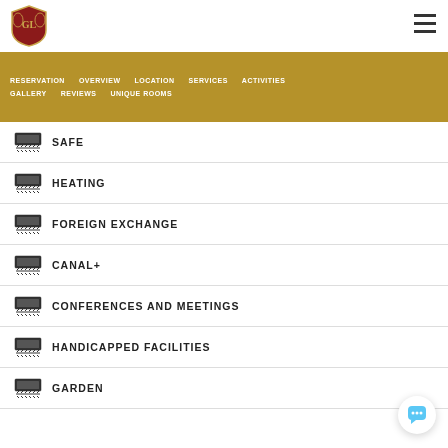[Figure (logo): Hotel crest/shield logo in red and gold with lions]
RESERVATION | OVERVIEW | LOCATION | SERVICES | ACTIVITIES | GALLERY | REVIEWS | UNIQUE ROOMS
SAFE
HEATING
FOREIGN EXCHANGE
CANAL+
CONFERENCES AND MEETINGS
HANDICAPPED FACILITIES
GARDEN